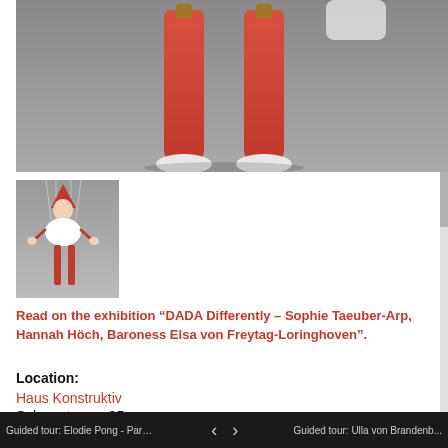[Figure (photo): Top portion of a marionette puppet showing red cylindrical legs with white base feet against a gray background]
[Figure (photo): Small thumbnail of a full marionette puppet with red and white costume, pointed hat, and red legs hanging by strings against gray background]
Read on the exhibition “DADA Differently – Sophie Taeuber-Arp, Hannah Höch, Baroness Elsa von Freytag-Loringhoven”.
Location:
Haus Konstruktiv
Selnaustrasse 25
8001 Zürich
Switzerland
Guided tour: Elodie Pong - Para...  ‹  ›  Guided tour: Ulla von Brandenb...